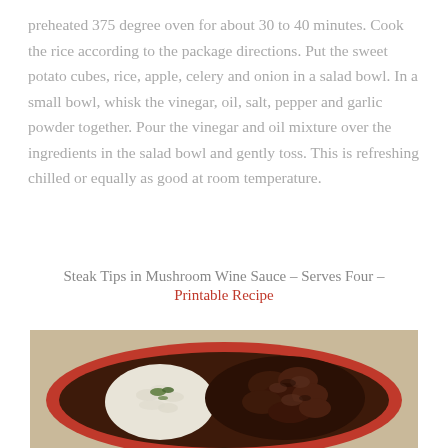preheated 375 degree oven for about 30 to 40 minutes. Cook the rice according to the package directions. Put the sweet potato cubes, rice, apple, celery and onion in a salad bowl. In a small bowl, whisk the vinegar, oil, salt, pepper and garlic powder together. Pour the vinegar and oil mixture over the ingredients in the salad bowl and gently toss. This is refreshing chilled or equally as good at room temperature.
Steak Tips in Mushroom Wine Sauce – Serves Four – Printable Recipe
[Figure (photo): A red oval dish containing steak tips in dark mushroom wine sauce alongside white rice garnished with fresh herbs, placed on a burlap surface.]